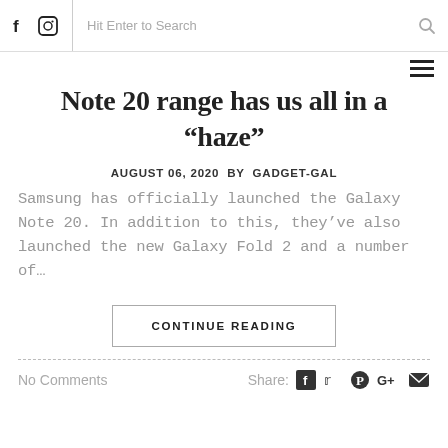f  [instagram icon]  Hit Enter to Search  [search icon]
Note 20 range has us all in a “haze”
AUGUST 06, 2020 BY GADGET-GAL
Samsung has officially launched the Galaxy Note 20. In addition to this, they’ve also launched the new Galaxy Fold 2 and a number of…
CONTINUE READING
No Comments
Share: